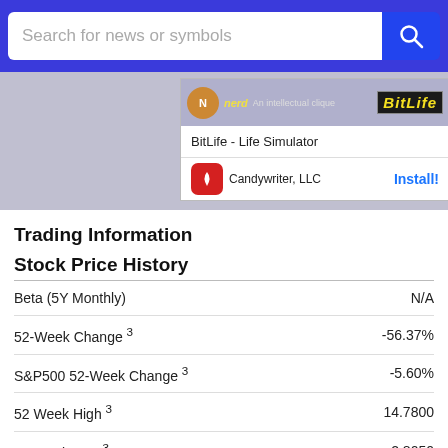[Figure (screenshot): Search bar with text 'Search for news or symbols' and blue search button, on a blue background]
[Figure (screenshot): App advertisement banner for BitLife - Life Simulator by Candywriter, LLC with an Install button]
Trading Information
Stock Price History
| Metric | Value |
| --- | --- |
| Beta (5Y Monthly) | N/A |
| 52-Week Change 3 | -56.37% |
| S&P500 52-Week Change 3 | -5.60% |
| 52 Week High 3 | 14.7800 |
| 52 Week Low 3 | 2.8050 |